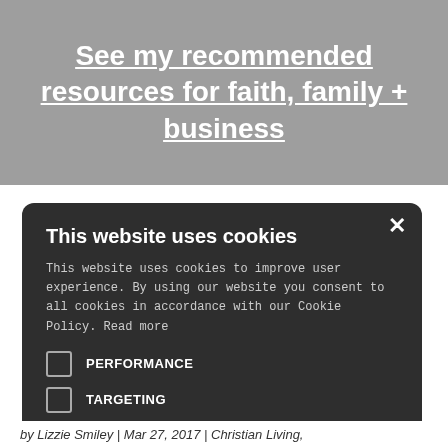See my recommended resources for faith, family + business
This website uses cookies
This website uses cookies to improve user experience. By using our website you consent to all cookies in accordance with our Cookie Policy. Read more
PERFORMANCE
TARGETING
ACCEPT ALL
DECLINE ALL
SHOW DETAILS
POWERED BY COOKIE-SCRIPT
by Lizzie Smiley | Mar 27, 2017 | Christian Living,